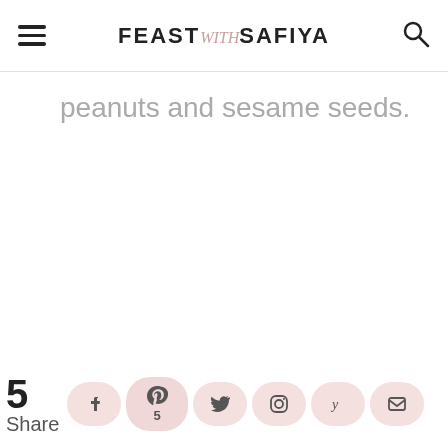FEAST with SAFIYA
peanuts and sesame seeds.
5 Share | Pinterest 5 | Facebook | Twitter | Instagram | Yummly | Email